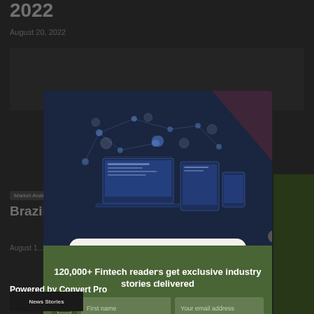2022
August 20, 2022
[Figure (screenshot): Dimmed background showing article content about Brazil Q2 2022 with table and tag]
[Figure (screenshot): Modal popup with dark blue header image showing fintech network/devices illustration, READ MORE button, close button, newsletter signup form with text '120,000+ Fintech readers get exclusive industry stories delivered', First name and Your email address input fields, and I WANT IN TOO! subscribe button]
120,000+ Fintech readers get exclusive industry stories delivered
Powered by Convert Pro